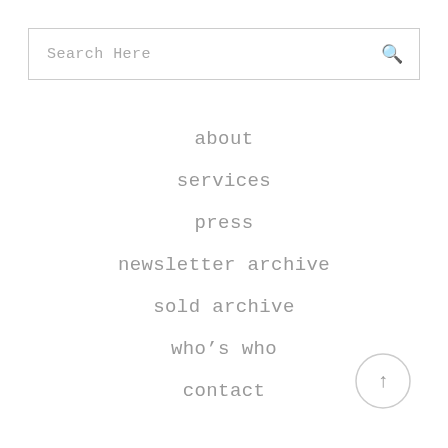Search Here
about
services
press
newsletter archive
sold archive
who’s who
contact
[Figure (illustration): Circular scroll-to-top button with upward arrow]